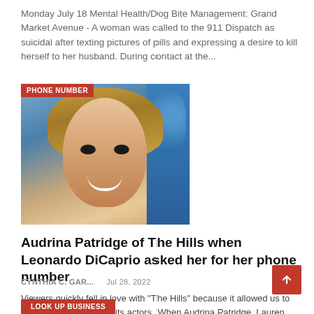Monday July 18 Mental Health/Dog Bite Management: Grand Market Avenue - A woman was called to the 911 Dispatch as suicidal after texting pictures of pills and expressing a desire to kill herself to her husband. During contact at the...
[Figure (photo): Photo of Audrina Patridge, a woman with long blonde hair, smiling, with a blue background. A red badge labeled 'PHONE NUMBER' is overlaid on the top-left of the image.]
Audrina Patridge of The Hills when Leonardo DiCaprio asked her for her phone number
CYNTHIA C. GAR...    Jul 28, 2022
Viewers quickly fell in love with "The Hills" because it allowed us to live vicariously through its actors. When Audrina Patridge, Lauren Conrad and the rest of the gang were invited to amazing parties and nightclubs in Los...
LOOK UP BUSINESS